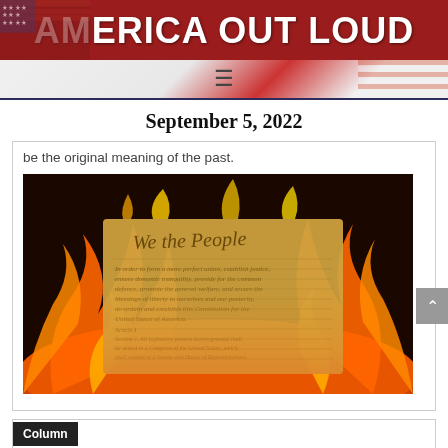AMERICA OUT LOUD
September 5, 2022
be the original meaning of the past.
[Figure (photo): US Constitution 'We the People' document engulfed in orange flames]
Column